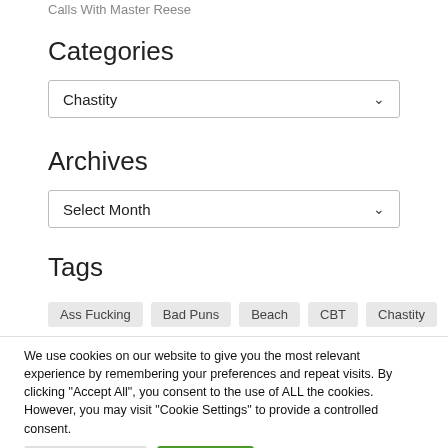Calls With Master Reese
Categories
Chastity
Archives
Select Month
Tags
Ass Fucking
Bad Puns
Beach
CBT
Chastity
We use cookies on our website to give you the most relevant experience by remembering your preferences and repeat visits. By clicking "Accept All", you consent to the use of ALL the cookies. However, you may visit "Cookie Settings" to provide a controlled consent.
Cookie Settings
Accept All